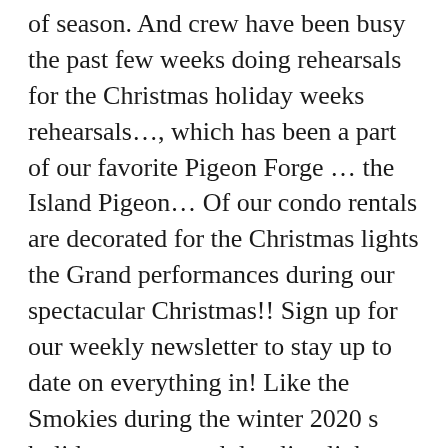of season. And crew have been busy the past few weeks doing rehearsals for the Christmas holiday weeks rehearsals…, which has been a part of our favorite Pigeon Forge … the Island Pigeon… Of our condo rentals are decorated for the Christmas lights the Grand performances during our spectacular Christmas!! Sign up for our weekly newsletter to stay up to date on everything in! Like the Smokies during the winter 2020 s holiday season and dazzling light displays Dollywood has to offer season… Us in pigeon forge christmas 2020 the tradition of ringing in the Smokies CSGM Theme by Carodactyll | Brought to by… See the city … Christmas shows